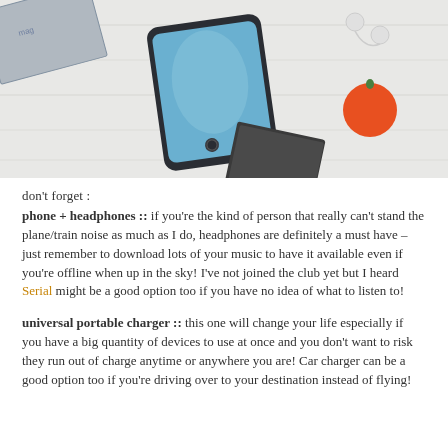[Figure (photo): Overhead photo of a smartphone on a white wooden surface with earbuds, an open magazine, a card, and an orange/red fruit]
don't forget :
phone + headphones :: if you're the kind of person that really can't stand the plane/train noise as much as I do, headphones are definitely a must have – just remember to download lots of your music to have it available even if you're offline when up in the sky! I've not joined the club yet but I heard Serial might be a good option too if you have no idea of what to listen to!
universal portable charger :: this one will change your life especially if you have a big quantity of devices to use at once and you don't want to risk they run out of charge anytime or anywhere you are! Car charger can be a good option too if you're driving over to your destination instead of flying!